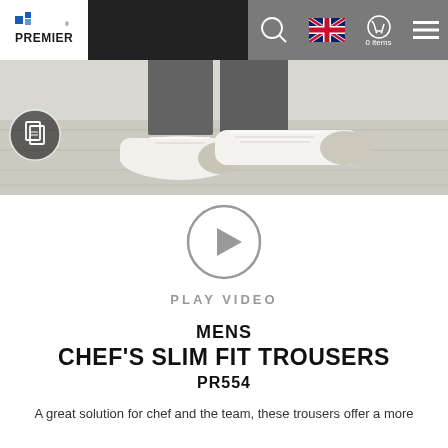[Figure (screenshot): Premier workwear website navbar with white logo box on left, dark background in center, gray area on right with search icon, UK flag icon, shopping cart showing '0 items', and hamburger menu icon]
[Figure (photo): Close-up photo of person wearing dark gray chef trousers and white sneakers/trainers standing on light wood floor. A document/page icon button is overlaid on the bottom-left.]
[Figure (other): Play video button: circle with right-pointing triangle inside, gray outline. Below it text reading PLAY VIDEO in gray uppercase spaced letters.]
MENS
CHEF'S SLIM FIT TROUSERS
PR554
A great solution for chef and the team, these trousers offer a more